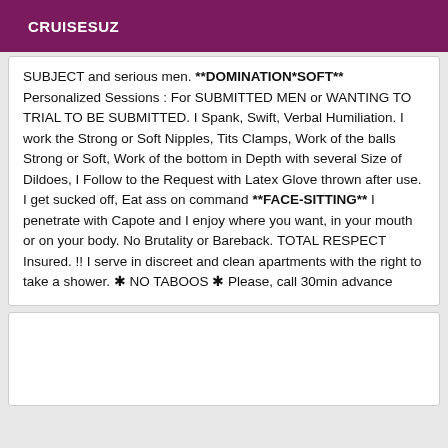CRUISESUZ
SUBJECT and serious men. **DOMINATION*SOFT** Personalized Sessions : For SUBMITTED MEN or WANTING TO TRIAL TO BE SUBMITTED. I Spank, Swift, Verbal Humiliation. I work the Strong or Soft Nipples, Tits Clamps, Work of the balls Strong or Soft, Work of the bottom in Depth with several Size of Dildoes, I Follow to the Request with Latex Glove thrown after use. I get sucked off, Eat ass on command **FACE-SITTING** I penetrate with Capote and I enjoy where you want, in your mouth or on your body. No Brutality or Bareback. TOTAL RESPECT Insured. !! I serve in discreet and clean apartments with the right to take a shower. ✱ NO TABOOS ✱ Please, call 30min advance